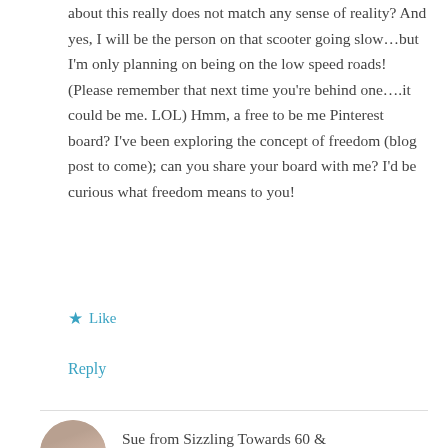about this really does not match any sense of reality? And yes, I will be the person on that scooter going slow…but I'm only planning on being on the low speed roads! (Please remember that next time you're behind one….it could be me. LOL) Hmm, a free to be me Pinterest board? I've been exploring the concept of freedom (blog post to come); can you share your board with me? I'd be curious what freedom means to you!
★ Like
Reply
Sue from Sizzling Towards 60 &